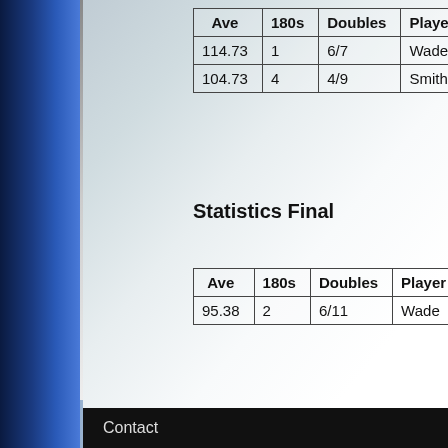| Ave | 180s | Doubles | Player |
| --- | --- | --- | --- |
| 114.73 | 1 | 6/7 | Wade |
| 104.73 | 4 | 4/9 | Smith |
Statistics Final
| Ave | 180s | Doubles | Player |
| --- | --- | --- | --- |
| 95.38 | 2 | 6/11 | Wade |
Contact